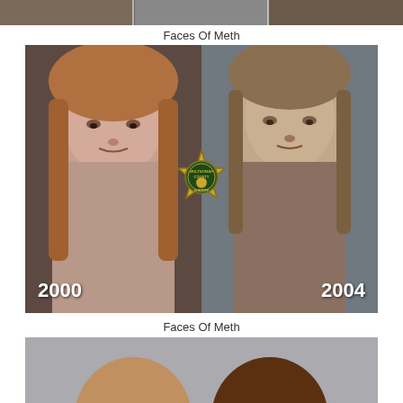[Figure (photo): Top cropped mugshot photos, partially visible at top of page]
Faces Of Meth
[Figure (photo): Side-by-side before/after mugshot photos of a woman labeled 2000 and 2004, with Multnomah County Sheriff badge in center]
Faces Of Meth
[Figure (photo): Bottom cropped photos showing tops of two individuals' heads against gray background]